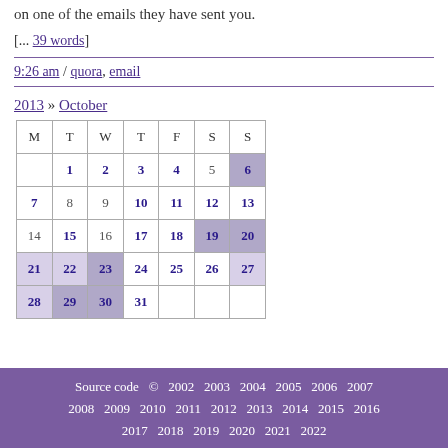on one of the emails they have sent you.
[... 39 words]
9:26 am / quora, email
2013 » October
| M | T | W | T | F | S | S |
| --- | --- | --- | --- | --- | --- | --- |
|  | 1 | 2 | 3 | 4 | 5 | 6 |
| 7 | 8 | 9 | 10 | 11 | 12 | 13 |
| 14 | 15 | 16 | 17 | 18 | 19 | 20 |
| 21 | 22 | 23 | 24 | 25 | 26 | 27 |
| 28 | 29 | 30 | 31 |  |  |  |
Source code  ©  2002  2003  2004  2005  2006  2007  2008  2009  2010  2011  2012  2013  2014  2015  2016  2017  2018  2019  2020  2021  2022